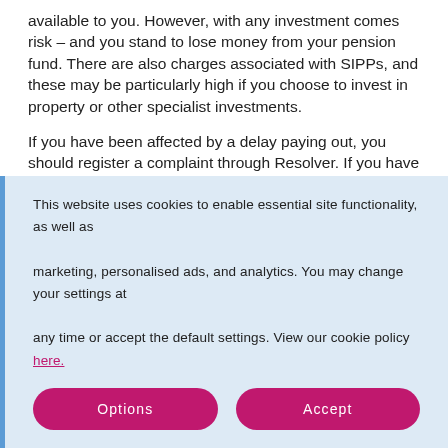available to you. However, with any investment comes risk – and you stand to lose money from your pension fund. There are also charges associated with SIPPs, and these may be particularly high if you choose to invest in property or other specialist investments.
If you have been affected by a delay paying out, you should register a complaint through Resolver. If you have been deprived of money that you should have had (or if you have lost money as the result of a mistake on the part of the pension scheme provider), you may be due some back. If the pension provider isn't able to resolve the issue to your satisfaction, you can escalate
This website uses cookies to enable essential site functionality, as well as marketing, personalised ads, and analytics. You may change your settings at any time or accept the default settings. View our cookie policy here.